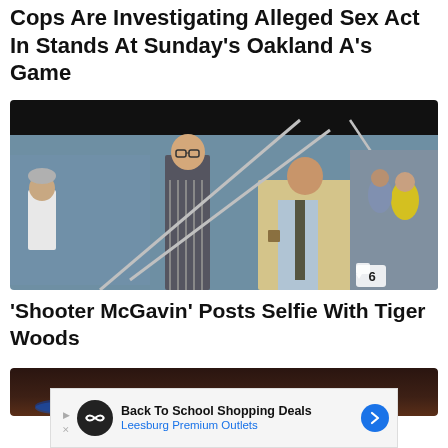Cops Are Investigating Alleged Sex Act In Stands At Sunday's Oakland A's Game
[Figure (photo): Movie scene showing a man in a tan blazer gesturing with a pole or bar, alongside a taller man in a striped shirt, in front of a large crowd in stadium stands.]
'Shooter McGavin' Posts Selfie With Tiger Woods
[Figure (photo): Partial image with dark brown tones at the top, appears to be the beginning of another article photo.]
Back To School Shopping Deals
Leesburg Premium Outlets